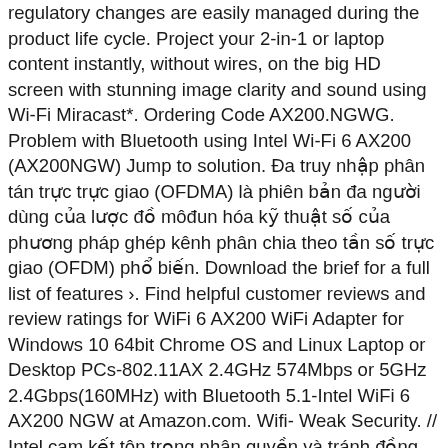regulatory changes are easily managed during the product life cycle. Project your 2-in-1 or laptop content instantly, without wires, on the big HD screen with stunning image clarity and sound using Wi-Fi Miracast*. Ordering Code AX200.NGWG. Problem with Bluetooth using Intel Wi-Fi 6 AX200 (AX200NGW) Jump to solution. Đa truy nhập phân tán trực trực giao (OFDMA) là phiên bản đa người dùng của lược đồ môđun hóa kỹ thuật số của phương pháp ghép kênh phân chia theo tần số trực giao (OFDM) phổ biến. Download the brief for a full list of features ›. Find helpful customer reviews and review ratings for WiFi 6 AX200 WiFi Adapter for Windows 10 64bit Chrome OS and Linux Laptop or Desktop PCs-802.11AX 2.4GHz 574Mbps or 5GHz 2.4Gbps(160MHz) with Bluetooth 5.1-Intel WiFi 6 AX200 NGW at Amazon.com. Wifi- Weak Security. // Intel cam kết tôn trọng nhân quyền và tránh đồng lõa với hành vi vi phạm nhân quyền. ‡ Tính năng này có thể không có sẵn trên tất cả các hệ thống máy tính. Intel AX200 WiFi 6 + BT 5.0. Intel® Wi-Fi 6 AX200 (Gig+), 2230, 2x2 AX+BT, vPro®. This network interface has reset 2 time(s) since it was last initialized. Replies: 9 Views: 168. steve.steve